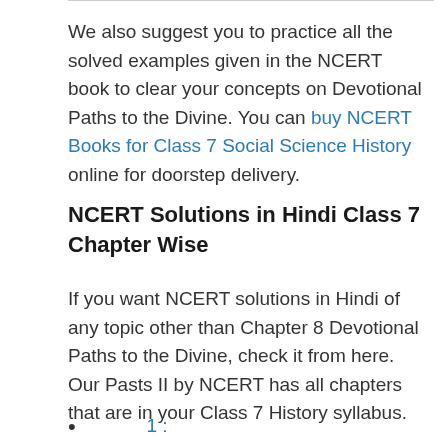We also suggest you to practice all the solved examples given in the NCERT book to clear your concepts on Devotional Paths to the Divine. You can buy NCERT Books for Class 7 Social Science History online for doorstep delivery.
NCERT Solutions in Hindi Class 7 Chapter Wise
If you want NCERT solutions in Hindi of any topic other than Chapter 8 Devotional Paths to the Divine, check it from here. Our Pasts II by NCERT has all chapters that are in your Class 7 History syllabus.
1: